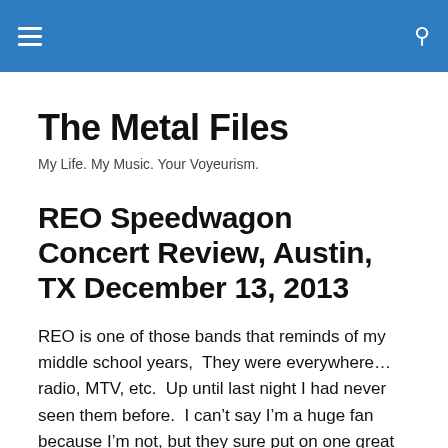The Metal Files — navigation bar
The Metal Files
My Life. My Music. Your Voyeurism.
REO Speedwagon Concert Review, Austin, TX December 13, 2013
REO is one of those bands that reminds of my middle school years,  They were everywhere…radio, MTV, etc.  Up until last night I had never seen them before.  I can't say I'm a huge fan because I'm not, but they sure put on one great show last night and I've no regrets about going.